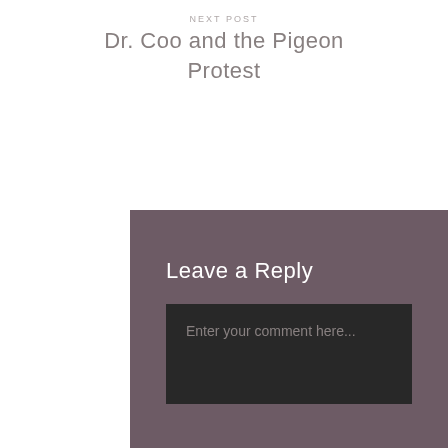NEXT POST
Dr. Coo and the Pigeon Protest
Leave a Reply
Enter your comment here...